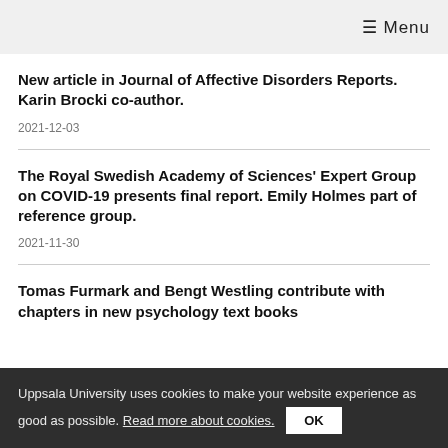≡ Menu
New article in Journal of Affective Disorders Reports. Karin Brocki co-author.
2021-12-03
The Royal Swedish Academy of Sciences' Expert Group on COVID-19 presents final report. Emily Holmes part of reference group.
2021-11-30
Tomas Furmark and Bengt Westling contribute with chapters in new psychology text books
Uppsala University uses cookies to make your website experience as good as possible. Read more about cookies. OK